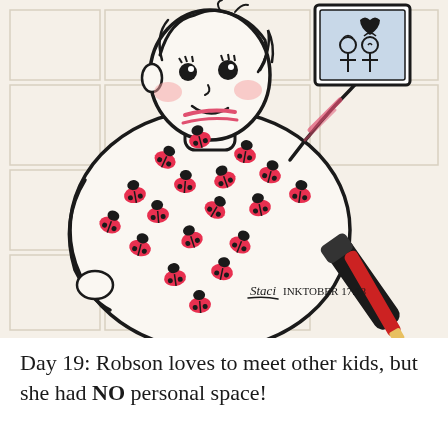[Figure (illustration): A hand-drawn ink illustration of a cartoon girl with short hair, rosy cheeks, wearing a dress covered in red ladybugs, holding up a framed photo of two children. A black marker and red pencil are visible in the lower right. Signed 'Staci' with 'INKTOBER 17.18' written below the signature.]
Day 19: Robson loves to meet other kids, but she had NO personal space!